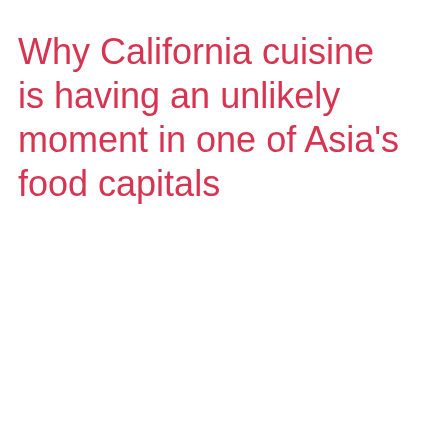Why California cuisine is having an unlikely moment in one of Asia's food capitals